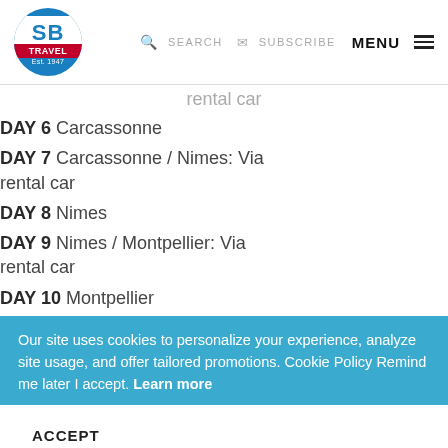SB TRAVEL Est. 1947 | SEARCH | SUBSCRIBE | MENU
rental car
DAY 6 Carcassonne
DAY 7 Carcassonne / Nimes: Via rental car
DAY 8 Nimes
DAY 9 Nimes / Montpellier: Via rental car
DAY 10 Montpellier
Our site uses cookies to personalize your experience, analyze site usage, and offer tailored promotions. Cookie Policy Remind me later I accept. Learn more
ACCEPT